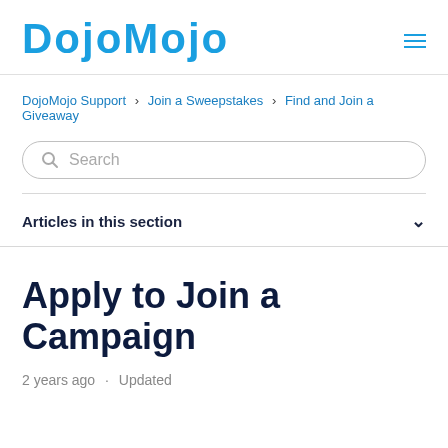[Figure (logo): DojoMojo logo in bold blue rounded lettering with hamburger menu icon]
DojoMojo Support › Join a Sweepstakes › Find and Join a Giveaway
[Figure (screenshot): Search input box with magnifying glass icon and placeholder text 'Search']
Articles in this section
Apply to Join a Campaign
2 years ago · Updated